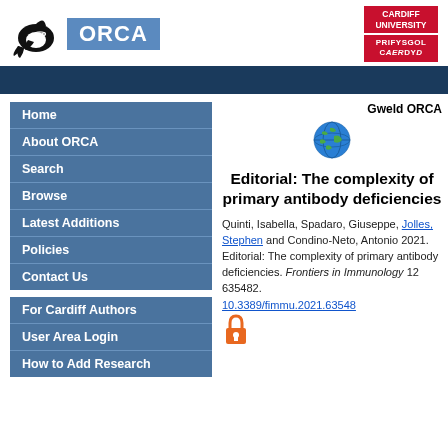[Figure (logo): ORCA logo with orca whale icon and blue text box saying ORCA]
[Figure (logo): Cardiff University / Prifysgol Caerdydd red logo]
Home
About ORCA
Search
Browse
Latest Additions
Policies
Contact Us
For Cardiff Authors
User Area Login
How to Add Research
Gweld ORCA
Editorial: The complexity of primary antibody deficiencies
Quinti, Isabella, Spadaro, Giuseppe, Jolles, Stephen and Condino-Neto, Antonio 2021. Editorial: The complexity of primary antibody deficiencies. Frontiers in Immunology 12 635482. 10.3389/fimmu.2021.635482